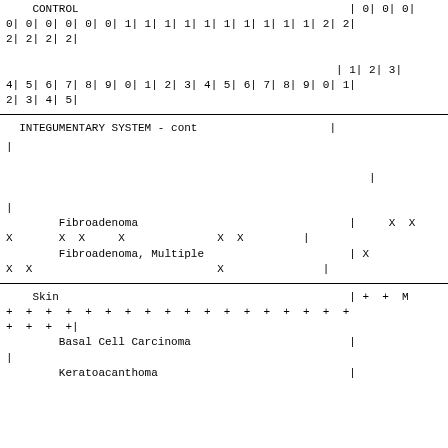CONTROL | 0| 0| 0|
0| 0| 0| 0| 0| 0| 1| 1| 1| 1| 1| 1| 1| 1| 1| 1| 2| 2|
2| 2| 2| 2|
                                                  | 1| 2| 3|
4| 5| 6| 7| 8| 9| 0| 1| 2| 3| 4| 5| 6| 7| 8| 9| 0| 1|
2| 3| 4| 5|
INTEGUMENTARY SYSTEM - cont
Fibroadenoma                                    |     X  X
X       X  X     X              X  X      |
        Fibroadenoma, Multiple                  | X
X  X                            X          |
Skin                                            | +  +  M
+  +  +  +  +  +  +  +  +  +  +  +  +  +  +  +  +  +
+  +  +  +|
        Basal Cell Carcinoma                    |
|
        Keratoacanthoma                         |